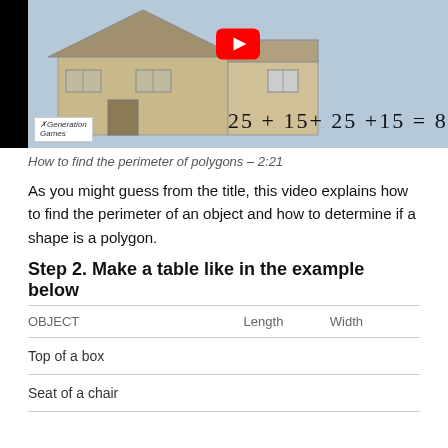[Figure (screenshot): YouTube video thumbnail showing a cartoon house with the equation 25 + 15+ 25 +15 = 80 and a Generation Games logo. Red YouTube play button overlay.]
How to find the perimeter of polygons – 2:21
As you might guess from the title, this video explains how to find the perimeter of an object and how to determine if a shape is a polygon.
Step 2. Make a table like in the example below
| OBJECT | Length | Width |
| --- | --- | --- |
| Top of a box |  |  |
| Seat of a chair |  |  |